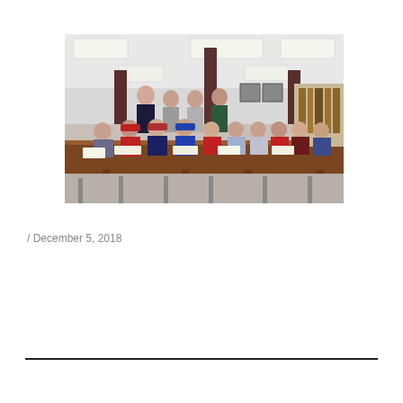[Figure (photo): Group photo of student athletes sitting and standing around a long wooden table in a school library, signing documents. Students are wearing various college-branded apparel including red, blue, navy, and maroon sweatshirts and baseball caps.]
/ December 5, 2018